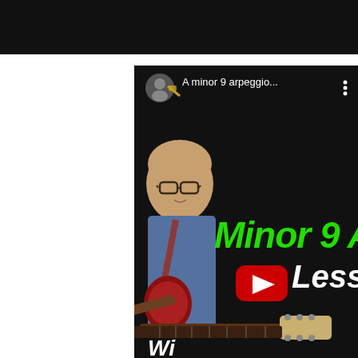[Figure (screenshot): Screenshot of a YouTube video thumbnail/player showing a guitar lesson. The video is titled 'A minor 9 arpeggio...' with a channel avatar showing a man holding a guitar. The main video area shows a bald man wearing glasses and a denim jacket holding a red electric guitar against a black background. Green bold text reads 'Minor 9 Ar' (partially visible) and white bold text reads 'Lesso' (partially visible) with a YouTube play button icon (red rectangle with white triangle). A Fender guitar neck and headstock are visible at the bottom. At the very bottom partially visible white text reads 'Wi' (partially cut off). A black bar appears at the top of the page.]